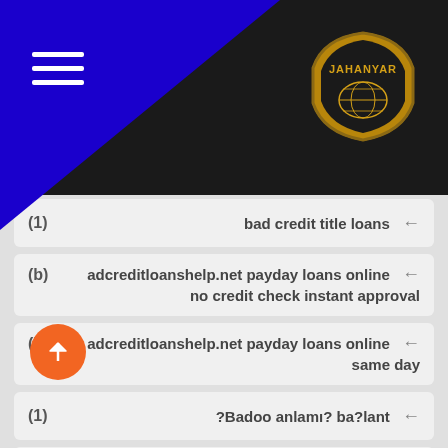[Figure (logo): Jahanyar badge logo with gold text and world map on dark background]
(1) bad credit title loans ←
(b) badcreditloanshelp.net payday loans online ← no credit check instant approval
(b) badcreditloanshelp.net payday loans online ← same day
(1) ?Badoo anlamı? ba?lant ←
(1) Badoo asian rencontre ←